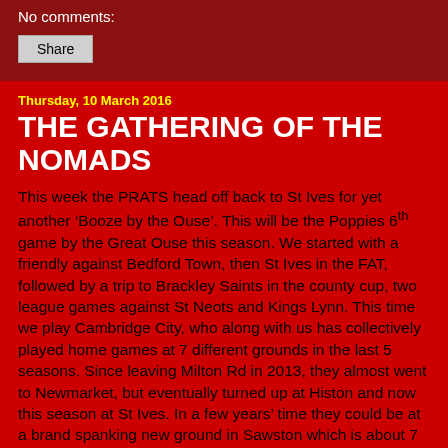No comments:
Share
Thursday, 10 March 2016
THE GATHERING OF THE NOMADS
This week the PRATS head off back to St Ives for yet another ‘Booze by the Ouse’. This will be the Poppies 6th game by the Great Ouse this season. We started with a friendly against Bedford Town, then St Ives in the FAT, followed by a trip to Brackley Saints in the county cup, two league games against St Neots and Kings Lynn. This time we play Cambridge City, who along with us has collectively played home games at 7 different grounds in the last 5 seasons. Since leaving Milton Rd in 2013, they almost went to Newmarket, but eventually turned up at Histon and now this season at St Ives. In a few years’ time they could be at a brand spanking new ground in Sawston which is about 7 miles south of Cambridge. When Fuggles was a mere Fugglet in the late 50’s early 60’s City were the premier club in Cambridge and could be considered one of the biggest